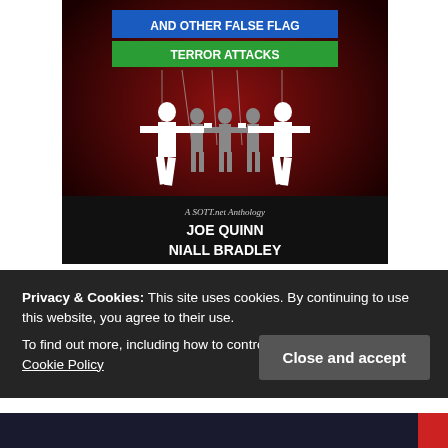[Figure (illustration): Book cover for a SOTT.net anthology titled 'And Other False Flag Terror Attacks' by Joe Quinn and Niall Bradley. Dark red background with white silhouettes of figures holding guns and grey silhouettes behind them like marionettes. Blue banner reads 'AND OTHER FALSE FLAG', green banner reads 'TERROR ATTACKS'. Bottom shows 'A SOTT.net Anthology', 'JOE QUINN', 'NIALL BRADLEY'.]
Privacy & Cookies: This site uses cookies. By continuing to use this website, you agree to their use.
To find out more, including how to control cookies, see here:
Cookie Policy
Close and accept